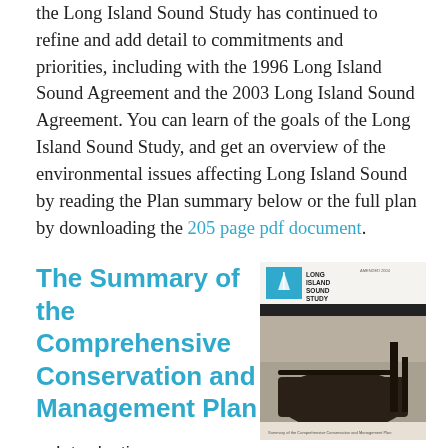the Long Island Sound Study has continued to refine and add detail to commitments and priorities, including with the 1996 Long Island Sound Agreement and the 2003 Long Island Sound Agreement. You can learn of the goals of the Long Island Sound Study, and get an overview of the environmental issues affecting Long Island Sound by reading the Plan summary below or the full plan by downloading the 205 page pdf document.
The Summary of the Comprehensive Conservation and Management Plan
[Figure (photo): Cover of Long Island Sound Study Comprehensive Conservation and Management Plan document, showing the Long Island Sound Study logo at the top and a black-and-white photograph of a dock or pier on water.]
Introduction